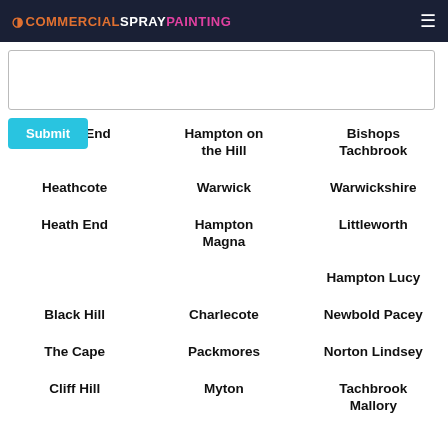COMMERCIALSPRAYPAINTING
Bridge End
Hampton on the Hill
Bishops Tachbrook
Heathcote
Warwick
Warwickshire
Heath End
Hampton Magna
Littleworth
Hampton Lucy
Black Hill
Charlecote
Newbold Pacey
The Cape
Packmores
Norton Lindsey
Cliff Hill
Myton
Tachbrook Mallory